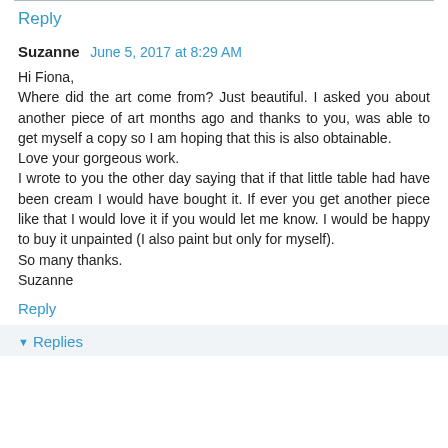Reply
Suzanne  June 5, 2017 at 8:29 AM
Hi Fiona,
Where did the art come from? Just beautiful. I asked you about another piece of art months ago and thanks to you, was able to get myself a copy so I am hoping that this is also obtainable.
Love your gorgeous work.
I wrote to you the other day saying that if that little table had have been cream I would have bought it. If ever you get another piece like that I would love it if you would let me know. I would be happy to buy it unpainted (I also paint but only for myself).
So many thanks.
Suzanne
Reply
Replies